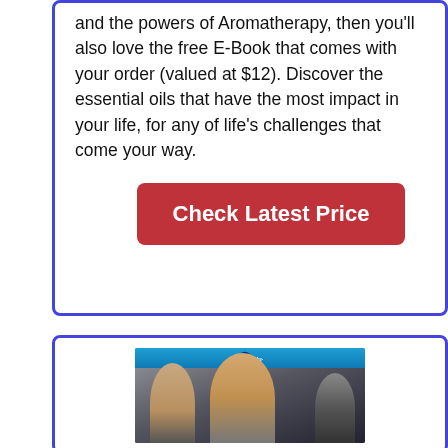and the powers of Aromatherapy, then you'll also love the free E-Book that comes with your order (valued at $12). Discover the essential oils that have the most impact in your life, for any of life's challenges that come your way.
[Figure (other): Red button labeled 'Check Latest Price']
[Figure (photo): Blu-ray disc product box showing three characters in a medieval/Viking scene — a blonde woman on the left, a central male warrior, and a dark-cloaked figure on the right — with a blue Blu-ray logo bar at the top]